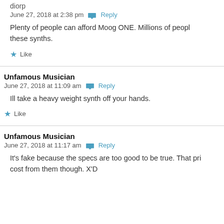diorp
June 27, 2018 at 2:38 pm  Reply
Plenty of people can afford Moog ONE. Millions of people can afford these synths.
Like
Unfamous Musician
June 27, 2018 at 11:09 am  Reply
Ill take a heavy weight synth off your hands.
Like
Unfamous Musician
June 27, 2018 at 11:17 am  Reply
It's fake because the specs are too good to be true. That price would cost from them though. X'D